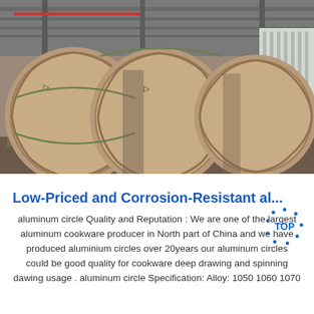[Figure (photo): Industrial warehouse interior showing three large circular aluminum rolls wrapped in brown kraft paper, sitting on wooden pallets. The warehouse has a high steel-frame roof with natural light coming through windows on the right side.]
Low-Priced and Corrosion-Resistant al...
aluminum circle Quality and Reputation : We are one of the largest aluminum cookware producer in North part of China and we have produced aluminium circles over 20years our aluminum circles could be good quality for cookware deep drawing and spinning dawing usage . aluminum circle Specification: Alloy: 1050 1060 1070